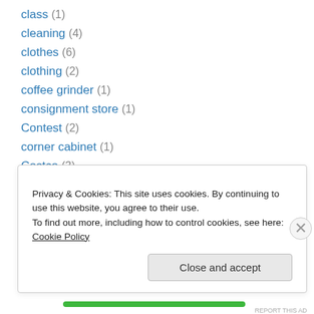class (1)
cleaning (4)
clothes (6)
clothing (2)
coffee grinder (1)
consignment store (1)
Contest (2)
corner cabinet (1)
Costco (3)
Costco (1)
Costco Food Court (1)
coupons (7)
cozy mysteries (1)
Privacy & Cookies: This site uses cookies. By continuing to use this website, you agree to their use. To find out more, including how to control cookies, see here: Cookie Policy
Close and accept